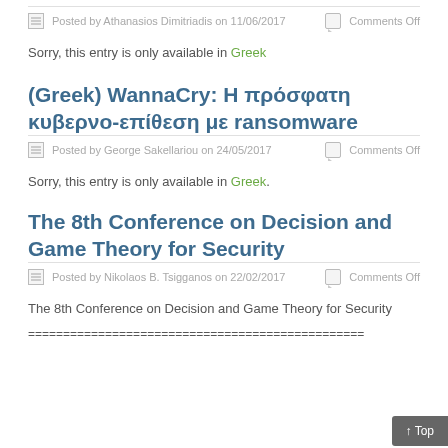Posted by Athanasios Dimitriadis on 11/06/2017   Comments Off
Sorry, this entry is only available in Greek
(Greek) WannaCry: Η πρόσφατη κυβερνο-επίθεση με ransomware
Posted by George Sakellariou on 24/05/2017   Comments Off
Sorry, this entry is only available in Greek.
The 8th Conference on Decision and Game Theory for Security
Posted by Nikolaos B. Tsigganos on 22/02/2017   Comments Off
The 8th Conference on Decision and Game Theory for Security
================================================